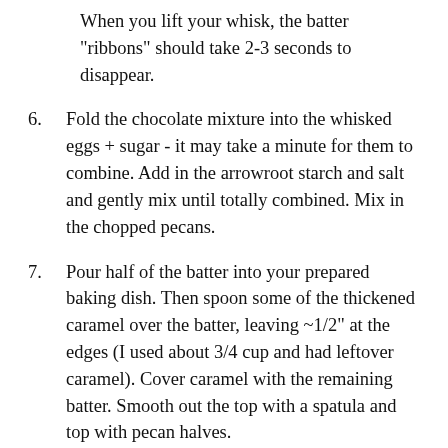When you lift your whisk, the batter "ribbons" should take 2-3 seconds to disappear.
6. Fold the chocolate mixture into the whisked eggs + sugar - it may take a minute for them to combine. Add in the arrowroot starch and salt and gently mix until totally combined. Mix in the chopped pecans.
7. Pour half of the batter into your prepared baking dish. Then spoon some of the thickened caramel over the batter, leaving ~1/2" at the edges (I used about 3/4 cup and had leftover caramel). Cover caramel with the remaining batter. Smooth out the top with a spatula and top with pecan halves.